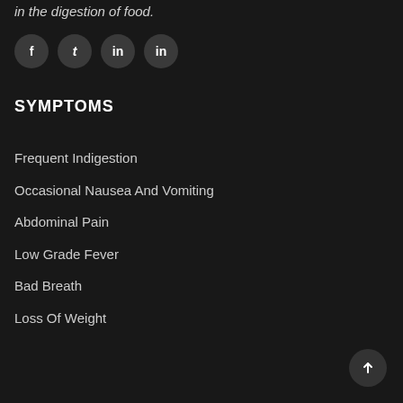in the digestion of food.
[Figure (infographic): Social media share icons: Facebook (f), Twitter (bird/t), LinkedIn (in), LinkedIn (in) — four circular dark grey buttons]
SYMPTOMS
Frequent Indigestion
Occasional Nausea And Vomiting
Abdominal Pain
Low Grade Fever
Bad Breath
Loss Of Weight